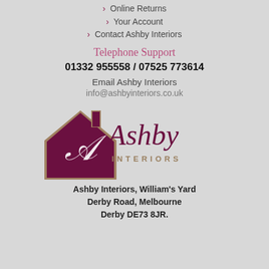> Online Returns
> Your Account
> Contact Ashby Interiors
Telephone Support
01332 955558 / 07525 773614
Email Ashby Interiors
info@ashbyinteriors.co.uk
[Figure (logo): Ashby Interiors logo with a dark maroon house silhouette containing a decorative A monogram on the left, and stylized script text 'Ashby INTERIORS' on the right]
Ashby Interiors, William's Yard Derby Road, Melbourne Derby DE73 8JR.